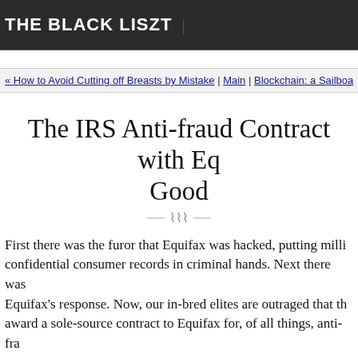THE BLACK LISZT
« How to Avoid Cutting off Breasts by Mistake | Main | Blockchain: a Sailboa...
The IRS Anti-fraud Contract with Eq... Good
First there was the furor that Equifax was hacked, putting milli... confidential consumer records in criminal hands. Next there was... Equifax's response. Now, our in-bred elites are outraged that the... award a sole-source contract to Equifax for, of all things, anti-fra... Equifax can't protect itself, and now our genius IRS awards them... dollars?!
Sadly, this is yet another example of pathetically ignorant peo...